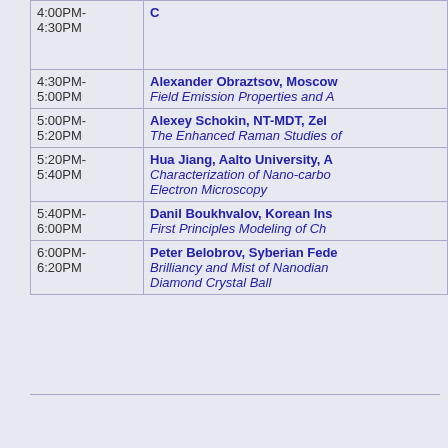| Time | Speaker / Talk |
| --- | --- |
| 4:00PM-4:30PM | C... |
| 4:30PM-5:00PM | Alexander Obraztsov, Moscow... | Field Emission Properties and A... |
| 5:00PM-5:20PM | Alexey Schokin, NT-MDT, Zel... | The Enhanced Raman Studies of... |
| 5:20PM-5:40PM | Hua Jiang, Aalto University, A... | Characterization of Nano-carbo... Electron Microscopy |
| 5:40PM-6:00PM | Danil Boukhvalov, Korean Ins... | First Principles Modeling of Ch... |
| 6:00PM-6:20PM | Peter Belobrov, Syberian Fede... | Brilliancy and Mist of Nanodian... Diamond Crystal Ball |